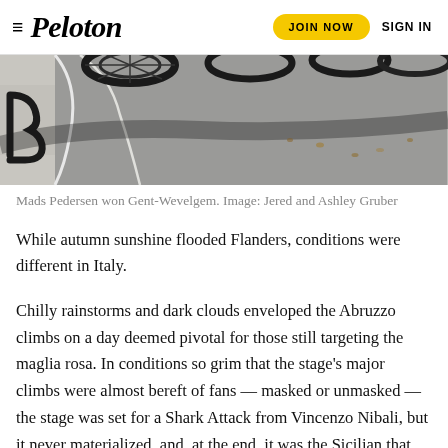≡ Peloton  JOIN NOW  SIGN IN
[Figure (photo): Aerial/overhead photograph of bicycles on a road with painted markings, dark asphalt and white/grey road markings visible.]
Mads Pedersen won Gent-Wevelgem. Image: Jered and Ashley Gruber
While autumn sunshine flooded Flanders, conditions were different in Italy.
Chilly rainstorms and dark clouds enveloped the Abruzzo climbs on a day deemed pivotal for those still targeting the maglia rosa. In conditions so grim that the stage's major climbs were almost bereft of fans — masked or unmasked — the stage was set for a Shark Attack from Vincenzo Nibali, but it never materialized, and, at the end, it was the Sicilian that was